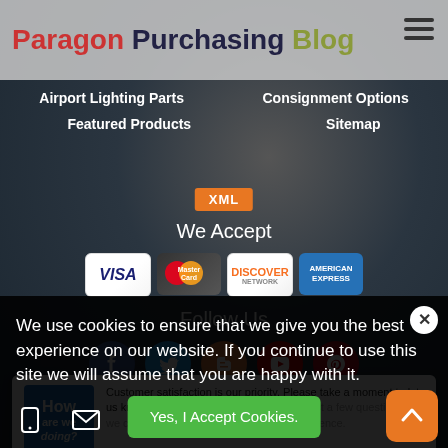Paragon Purchasing Blog
Airport Lighting Parts
Consignment Options
Featured Products
Sitemap
[Figure (logo): XML badge - orange rectangle with white XML text]
We Accept
[Figure (illustration): Payment card logos: VISA, MasterCard, Discover, American Express]
Follow Us
[Figure (illustration): Social media icons: Facebook, Twitter, Blogger, YouTube, Pinterest]
[Figure (infographic): How are we doing? Customer satisfaction survey widget. Text: Customer satisfaction is our priority. Please take a moment to let us know how we are doing by answering just a few questions so we can improve our service and your experience.]
We use cookies to ensure that we give you the best experience on our website. If you continue to use this site we will assume that you are happy with it.